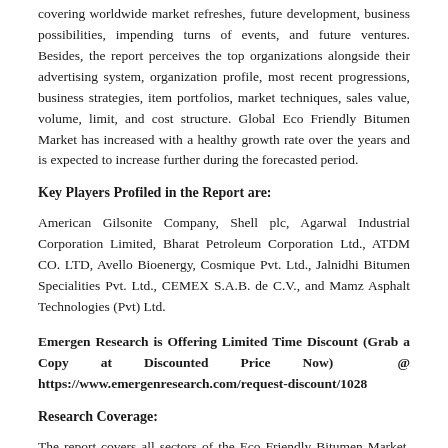covering worldwide market refreshes, future development, business possibilities, impending turns of events, and future ventures. Besides, the report perceives the top organizations alongside their advertising system, organization profile, most recent progressions, business strategies, item portfolios, market techniques, sales value, volume, limit, and cost structure. Global Eco Friendly Bitumen Market has increased with a healthy growth rate over the years and is expected to increase further during the forecasted period.
Key Players Profiled in the Report are:
American Gilsonite Company, Shell plc, Agarwal Industrial Corporation Limited, Bharat Petroleum Corporation Ltd., ATDM CO. LTD, Avello Bioenergy, Cosmique Pvt. Ltd., Jalnidhi Bitumen Specialities Pvt. Ltd., CEMEX S.A.B. de C.V., and Mamz Asphalt Technologies (Pvt) Ltd.
Emergen Research is Offering Limited Time Discount (Grab a Copy at Discounted Price Now)  @ https://www.emergenresearch.com/request-discount/1028
Research Coverage:
The report covers all sectors of the Eco Friendly Bitumen Market. Its goal is to determine the market's size and growth potential across several areas,